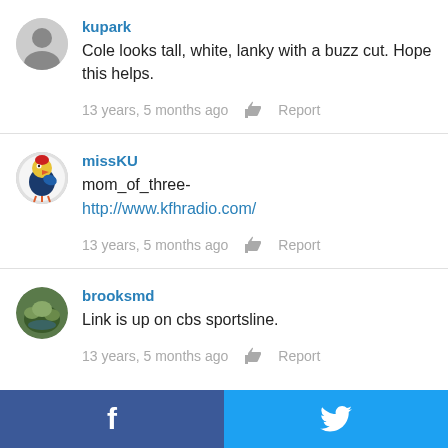kupark
Cole looks tall, white, lanky with a buzz cut. Hope this helps.
13 years, 5 months ago  Report
missKU
mom_of_three-
http://www.kfhradio.com/
13 years, 5 months ago  Report
brooksmd
Link is up on cbs sportsline.
13 years, 5 months ago  Report
[Figure (infographic): Footer bar with Facebook (blue, f icon) and Twitter (light blue, bird icon) share buttons]